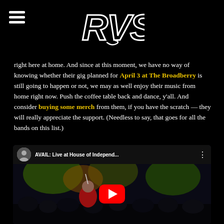[Figure (logo): RVS logo in white graffiti/block letters on black background, with hamburger menu icon on the left]
right here at home. And since at this moment, we have no way of knowing whether their gig planned for April 3 at The Broadberry is still going to happen or not, we may as well enjoy their music from home right now. Push the coffee table back and dance, y'all. And consider buying some merch from them, if you have the scratch — they will really appreciate the support. (Needless to say, that goes for all the bands on this list.)
[Figure (screenshot): YouTube video embed thumbnail showing 'AVAIL: Live at House of Independ...' with concert crowd scene and red YouTube play button]